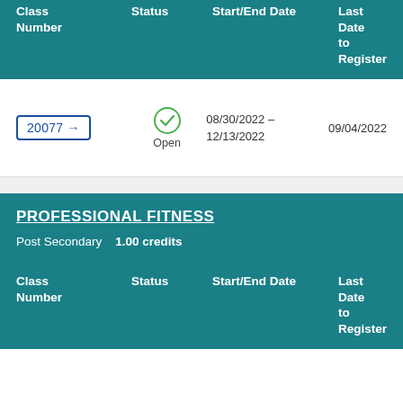| Class Number | Status | Start/End Date | Last Date to Register |
| --- | --- | --- | --- |
| 20077 → | Open | 08/30/2022 – 12/13/2022 | 09/04/2022 |
PROFESSIONAL FITNESS
Post Secondary    1.00 credits
| Class Number | Status | Start/End Date | Last Date to Register |
| --- | --- | --- | --- |